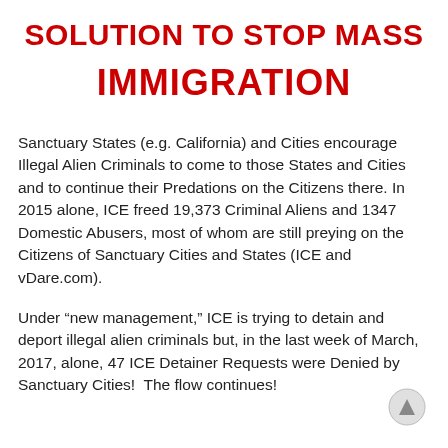SOLUTION TO STOP MASS IMMIGRATION
Sanctuary States (e.g. California) and Cities encourage Illegal Alien Criminals to come to those States and Cities and to continue their Predations on the Citizens there. In 2015 alone, ICE freed 19,373 Criminal Aliens and 1347 Domestic Abusers, most of whom are still preying on the Citizens of Sanctuary Cities and States (ICE and vDare.com).
Under “new management,” ICE is trying to detain and deport illegal alien criminals but, in the last week of March, 2017, alone, 47 ICE Detainer Requests were Denied by Sanctuary Cities!  The flow continues!